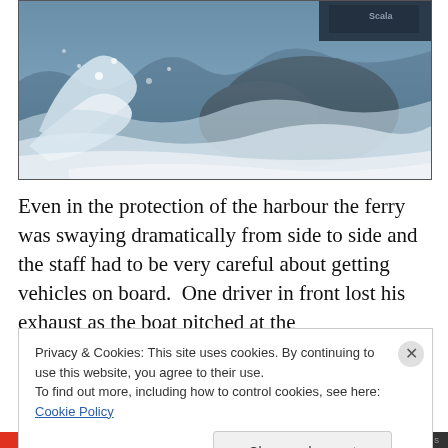[Figure (photo): Stormy rough sea with large crashing waves and whitewater foam; a large dark vessel visible in the background upper right with text 'Scala' partially visible.]
Even in the protection of the harbour the ferry was swaying dramatically from side to side and the staff had to be very careful about getting vehicles on board.  One driver in front lost his exhaust as the boat pitched at the
Privacy & Cookies: This site uses cookies. By continuing to use this website, you agree to their use.
To find out more, including how to control cookies, see here: Cookie Policy
[Close and accept]